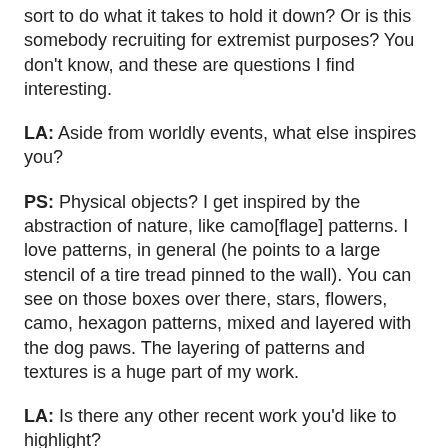sort to do what it takes to hold it down? Or is this somebody recruiting for extremist purposes? You don't know, and these are questions I find interesting.
LA: Aside from worldly events, what else inspires you?
PS: Physical objects? I get inspired by the abstraction of nature, like camo[flage] patterns. I love patterns, in general (he points to a large stencil of a tire tread pinned to the wall). You can see on those boxes over there, stars, flowers, camo, hexagon patterns, mixed and layered with the dog paws. The layering of patterns and textures is a huge part of my work.
LA: Is there any other recent work you'd like to highlight?
PS: Oh
the zebra.
[Figure (photo): Photo of a building exterior against a blue sky, showing architectural structures including what appears to be a tower or column element.]